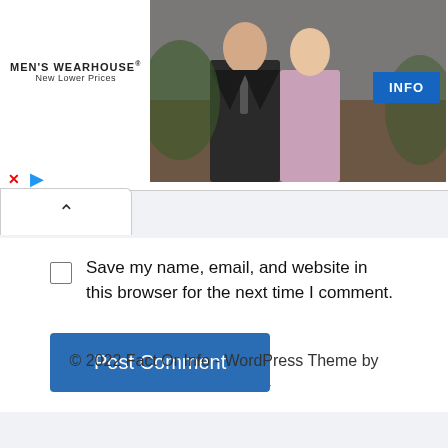[Figure (screenshot): Men's Wearhouse advertisement banner showing a couple in formal wear and a man in a suit, with an INFO button. Ad controls (X and play button) are visible below the banner.]
Save my name, email, and website in this browser for the next time I comment.
Post Comment
© 2022 Fact Or Info - WordPress Theme by Kadence WP